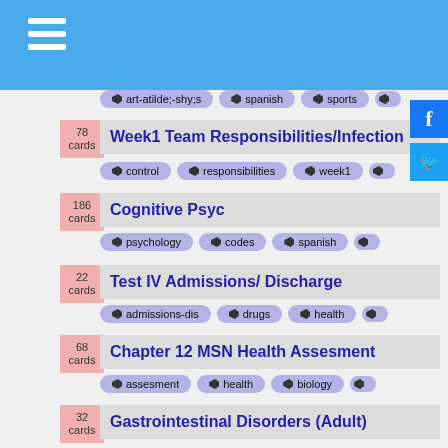Flashcard study app header with hamburger menu
art-atilde;-shy;s | spanish | sports
78 cards — Week1 Team Responsibilities/Infection — tags: control, responsibilities, week1
186 cards — Cognitive Psyc — tags: psychology, codes, spanish
22 cards — Test IV Admissions/ Discharge — tags: admissions-dis, drugs, health
68 cards — Chapter 12 MSN Health Assesment — tags: assesment, health, biology
32 cards — Gastrointestinal Disorders (Adult) — tags: biology, medicine, biochemistry
28 cards — z-Cardiomyopathy — tags: kristo, biology, medicine
15 cards — z-Pharm Stroke